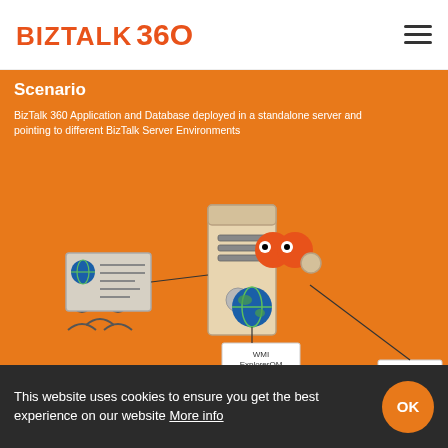BIZTALK 360
Scenario
BizTalk 360 Application and Database deployed in a standalone server and pointing to different BizTalk Server Environments
[Figure (engineering-diagram): Architecture diagram showing a standalone server with BizTalk 360 application and database connecting via WMI ExplorerOM Database Calls to two BizTalk Group (PROD) environments. Users and a web interface are shown on the left connecting to the central server, which has globe/internet icon and two orange circular icons representing the BizTalk 360 components.]
This website uses cookies to ensure you get the best experience on our website More info